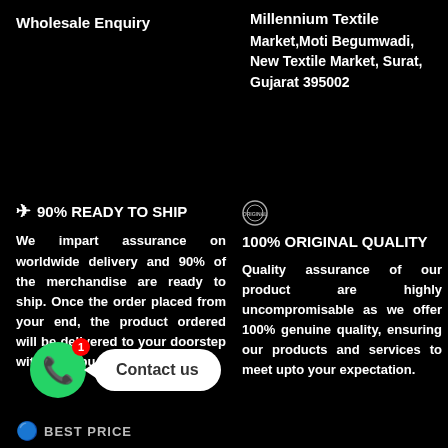Wholesale Enquiry
Millennium Textile Market,Moti Begumwadi, New Textile Market, Surat, Gujarat 395002
✈ 90% READY TO SHIP
We impart assurance on worldwide delivery and 90% of the merchandise are ready to ship. Once the order placed from your end, the product ordered will be delivered to your doorstep within 3-4 business days.
100% ORIGINAL QUALITY
Quality assurance of our product are highly uncompromisable as we offer 100% genuine quality, ensuring our products and services to meet upto your expectation.
[Figure (other): WhatsApp contact button with notification badge and Contact us speech bubble]
BEST PRICE